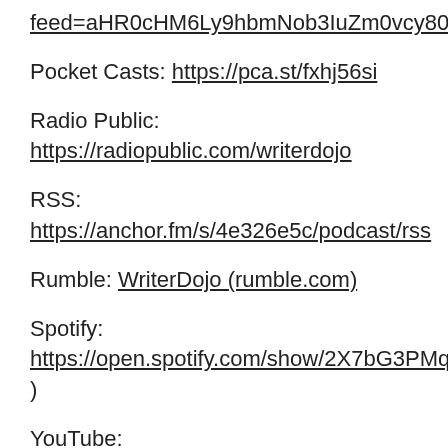feed=aHR0cHM6Ly9hbmNob3IuZm0vcy80ZTMyNmU1Yy9wb2RjYXN0L3Jzcw==
Pocket Casts: https://pca.st/fxhj56si
Radio Public: https://radiopublic.com/writerdojo
RSS: https://anchor.fm/s/4e326e5c/podcast/rss
Rumble: WriterDojo (rumble.com)
Spotify: https://open.spotify.com/show/2X7bG3PMqln9ZKinIDjs27 )
YouTube: https://www.youtube.com/c/WriterDojo